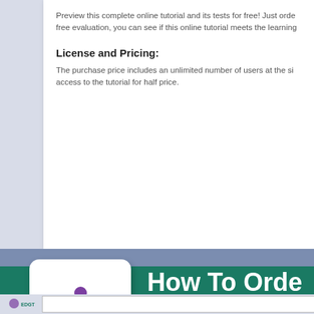Preview this complete online tutorial and its tests for free! Just orde free evaluation, you can see if this online tutorial meets the learning
License and Pricing:
The purchase price includes an unlimited number of users at the si access to the tutorial for half price.
[Figure (logo): EDGT logo: purple figure with arms raised and stethoscope, teal EDGT text with horizontal lines, white rounded square background]
How To Orde